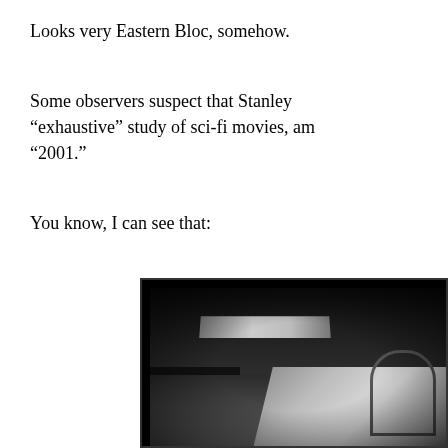Looks very Eastern Bloc, somehow.
Some observers suspect that Stanley “exhaustive” study of sci-fi movies, am “2001.”
You know, I can see that:
[Figure (photo): Black and white photograph of a science fiction film set interior, showing a futuristic corridor with metallic architectural elements, angular panels, and dramatic lighting reminiscent of 2001: A Space Odyssey.]